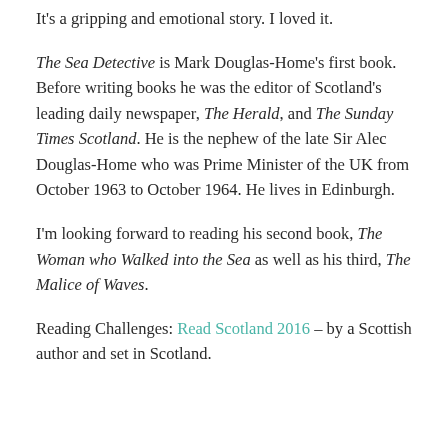It's a gripping and emotional story. I loved it.
The Sea Detective is Mark Douglas-Home's first book. Before writing books he was the editor of Scotland's leading daily newspaper, The Herald, and The Sunday Times Scotland. He is the nephew of the late Sir Alec Douglas-Home who was Prime Minister of the UK from October 1963 to October 1964. He lives in Edinburgh.
I'm looking forward to reading his second book, The Woman who Walked into the Sea as well as his third, The Malice of Waves.
Reading Challenges: Read Scotland 2016 – by a Scottish author and set in Scotland.